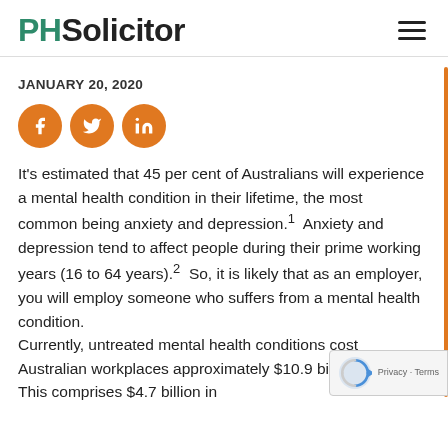PHSolicitor
JANUARY 20, 2020
[Figure (other): Three circular orange social media share buttons: Facebook, Twitter, LinkedIn]
It's estimated that 45 per cent of Australians will experience a mental health condition in their lifetime, the most common being anxiety and depression.1  Anxiety and depression tend to affect people during their prime working years (16 to 64 years).2  So, it is likely that as an employer, you will employ someone who suffers from a mental health condition. Currently, untreated mental health conditions cost Australian workplaces approximately $10.9 billion per year. This comprises $4.7 billion in absenteeism, $6.1 billion in presenteeism and...